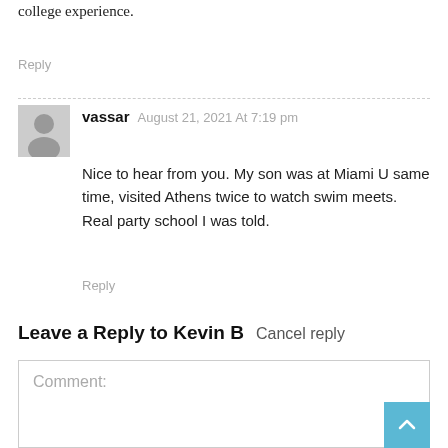college experience.
Reply
vassar  August 21, 2021 At 7:19 pm
Nice to hear from you. My son was at Miami U same time, visited Athens twice to watch swim meets. Real party school I was told.
Reply
Leave a Reply to Kevin B  Cancel reply
Comment: